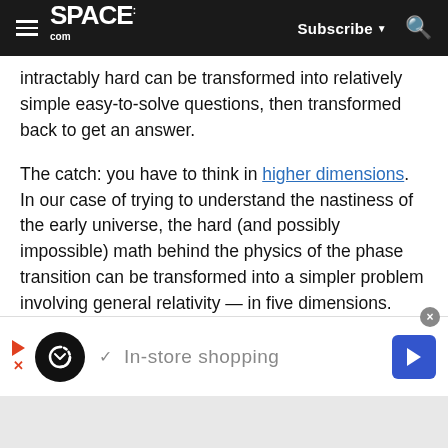SPACE.com | Subscribe | Search
intractably hard can be transformed into relatively simple easy-to-solve questions, then transformed back to get an answer.
The catch: you have to think in higher dimensions. In our case of trying to understand the nastiness of the early universe, the hard (and possibly impossible) math behind the physics of the phase transition can be transformed into a simpler problem involving general relativity — in five dimensions.
It doesn't make any sense. Why does this trick work? Why do electroweak problems in four dimensions
[Figure (screenshot): Advertisement banner showing a loop icon with 'In-store shopping' text and a blue navigation arrow icon]